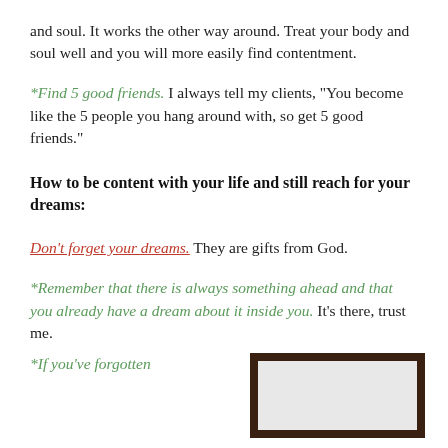and soul. It works the other way around. Treat your body and soul well and you will more easily find contentment.
*Find 5 good friends. I always tell my clients, "You become like the 5 people you hang around with, so get 5 good friends."
How to be content with your life and still reach for your dreams:
Don't forget your dreams. They are gifts from God.
*Remember that there is always something ahead and that you already have a dream about it inside you. It's there, trust me.
*If you've forgotten
[Figure (photo): A framed picture partially visible at bottom right of the page]